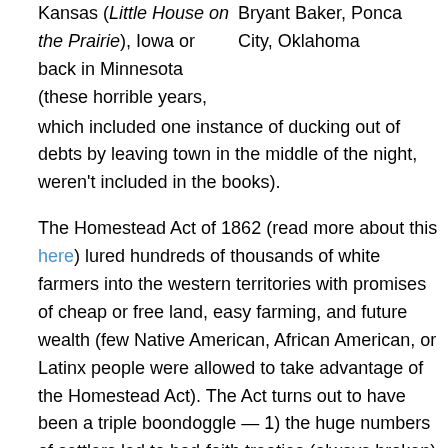Kansas (Little House on the Prairie), Iowa or back in Minnesota (these horrible years, which included one instance of ducking out of debts by leaving town in the middle of the night, weren't included in the books).
Bryant Baker, Ponca City, Oklahoma
The Homestead Act of 1862 (read more about this here) lured hundreds of thousands of white farmers into the western territories with promises of cheap or free land, easy farming, and future wealth (few Native American, African American, or Latinx people were allowed to take advantage of the Homestead Act). The Act turns out to have been a triple boondoggle — 1) the huge numbers of settlers led to bad-faith treaties (always broken) with Native Americans, forcing them off their ancestral lands; 2)